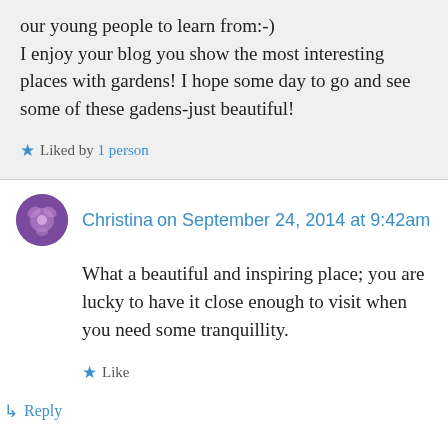our young people to learn from:-)
I enjoy your blog you show the most interesting places with gardens! I hope some day to go and see some of these gadens-just beautiful!
★ Liked by 1 person
Christina on September 24, 2014 at 9:42am
What a beautiful and inspiring place; you are lucky to have it close enough to visit when you need some tranquillity.
★ Like
↳ Reply